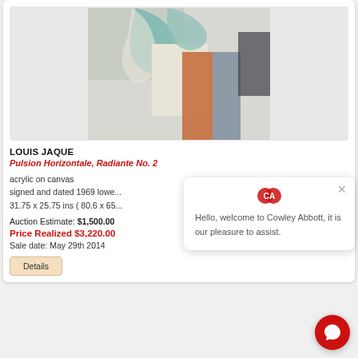[Figure (illustration): Abstract painting with curved shapes in teal, cream, orange, blue-grey on a light background]
LOUIS JAQUE
Pulsion Horizontale, Radiante No. 2
acrylic on canvas
signed and dated 1969 lower...
31.75 x 25.75 ins ( 80.6 x 65...
Auction Estimate: $1,500.00
Price Realized $3,220.00
Sale date: May 29th 2014
Details
Hello, welcome to Cowley Abbott, it is our pleasure to assist.